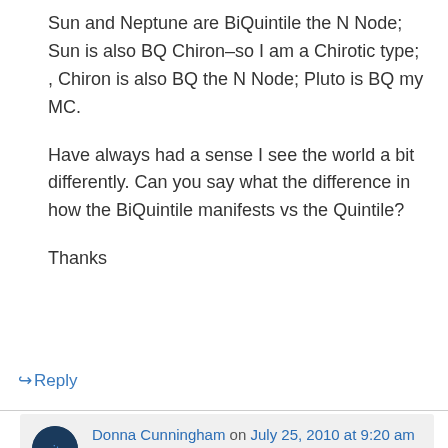Sun and Neptune are BiQuintile the N Node; Sun is also BQ Chiron–so I am a Chirotic type; , Chiron is also BQ the N Node; Pluto is BQ my MC.

Have always had a sense I see the world a bit differently. Can you say what the difference in how the BiQuintile manifests vs the Quintile?

Thanks
↳ Reply
Donna Cunningham on July 25, 2010 at 9:20 am
BiQuintile later–little-known aspect project.